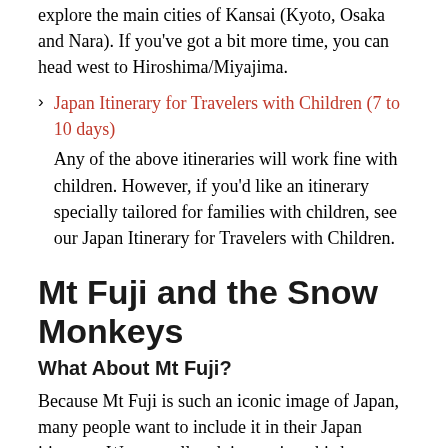explore the main cities of Kansai (Kyoto, Osaka and Nara). If you've got a bit more time, you can head west to Hiroshima/Miyajima.
Japan Itinerary for Travelers with Children (7 to 10 days)
Any of the above itineraries will work fine with children. However, if you'd like an itinerary specially tailored for families with children, see our Japan Itinerary for Travelers with Children.
Mt Fuji and the Snow Monkeys
What About Mt Fuji?
Because Mt Fuji is such an iconic image of Japan, many people want to include it in their Japan itinerary. We normally advise against this because the mountain is shrouded in clouds about 75% of the